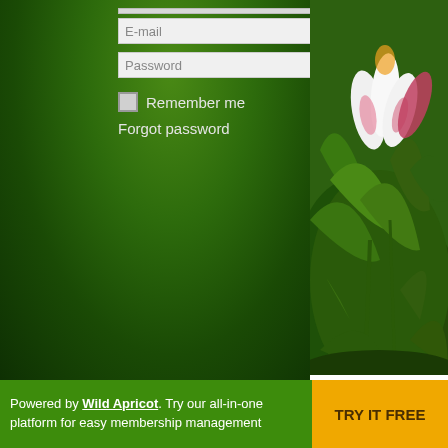[Figure (screenshot): Login form with E-mail and Password fields, Log in button, Remember me checkbox, and Forgot password link on a dark green background]
[Figure (photo): Close-up photo of white and pink tulip flowers with green foliage in the background]
flowers. And with all the p... Fairy Salad will open you... their honeyed, pollened, n... your salads.
May Day is the day the fa... you by providing a wild co... fairies have returned to th... course. Fairies are attrac...
In pursuit of wild salad gr... week I offer you three mo... weeks after that. In betwe... beautiful flowering (and n...
Powered by Wild Apricot. Try our all-in-one platform for easy membership management  TRY IT FREE